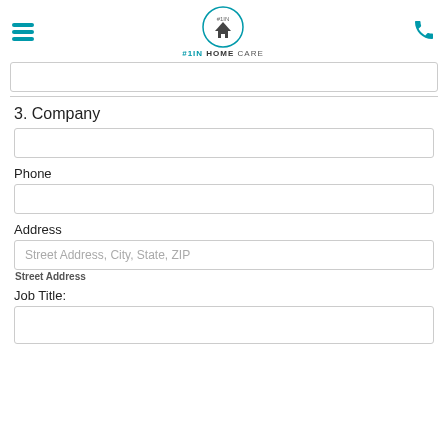#1IN HOME CARE
(previous field box)
3. Company
(Company input field)
Phone
(Phone input field)
Address
Street Address, City, State, ZIP
Street Address
Job Title:
(Job Title input field)